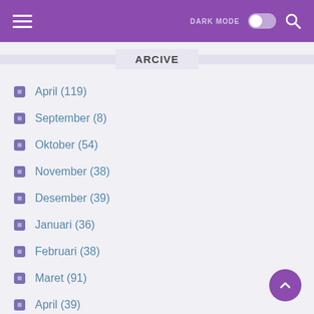DARK MODE [toggle] [search]
ARCIVE
April (119)
September (8)
Oktober (54)
November (38)
Desember (39)
Januari (36)
Februari (38)
Maret (91)
April (39)
Mei (62)
Juni (56)